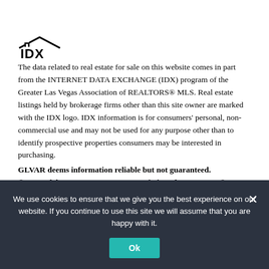[Figure (logo): IDX logo — house roof outline above bold letters IDX]
The data related to real estate for sale on this website comes in part from the INTERNET DATA EXCHANGE (IDX) program of the Greater Las Vegas Association of REALTORS® MLS. Real estate listings held by brokerage firms other than this site owner are marked with the IDX logo. IDX information is for consumers' personal, non-commercial use and may not be used for any purpose other than to identify prospective properties consumers may be interested in purchasing.
GLVAR deems information reliable but not guaranteed.
© 2022 of the Greater Las Vegas Association of REALTORS® MLS. All rights reserved.
GLVAR DMCA Notice
We use cookies to ensure that we give you the best experience on our website. If you continue to use this site we will assume that you are happy with it.